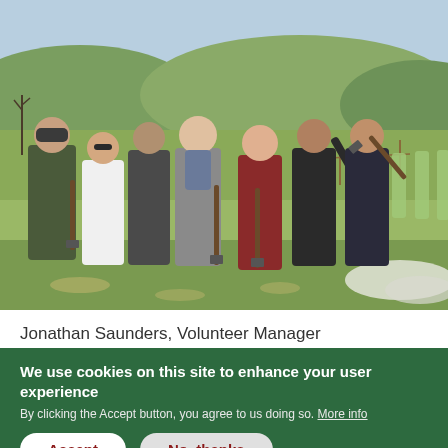[Figure (photo): Group of seven young people standing in a field, most holding shovels/spades, with tree planting tubes visible in the background on the right. Green hills and bare trees in background. Outdoor daytime scene.]
Jonathan Saunders, Volunteer Manager
We use cookies on this site to enhance your user experience
By clicking the Accept button, you agree to us doing so. More info